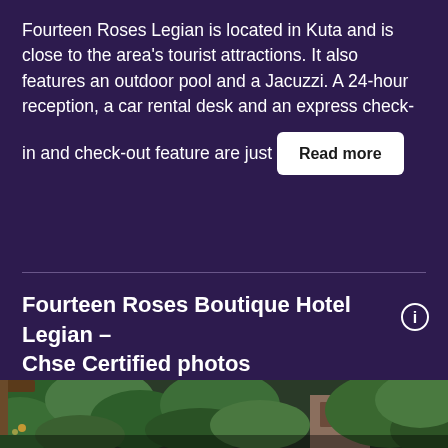Fourteen Roses Legian is located in Kuta and is close to the area's tourist attractions. It also features an outdoor pool and a Jacuzzi. A 24-hour reception, a car rental desk and an express check-in and check-out feature are just
Read more
Fourteen Roses Boutique Hotel Legian – Chse Certified photos
[Figure (photo): Outdoor garden/courtyard photo of Fourteen Roses Boutique Hotel Legian showing tropical plants and trees with brick structures visible in the background]